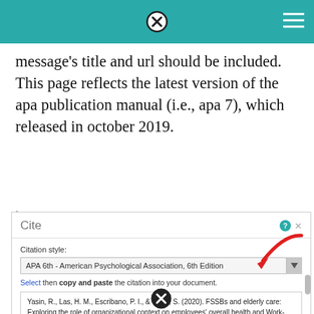[teal header bar with close and hamburger icons]
message's title and url should be included. This page reflects the latest version of the apa publication manual (i.e., apa 7), which released in october 2019.
[Figure (screenshot): Cite dialog box showing Citation style dropdown set to 'APA 6th - American Psychological Association, 6th Edition' with a red arrow pointing to it, and a citation text box below with a reference for Yasin et al. 2020.]